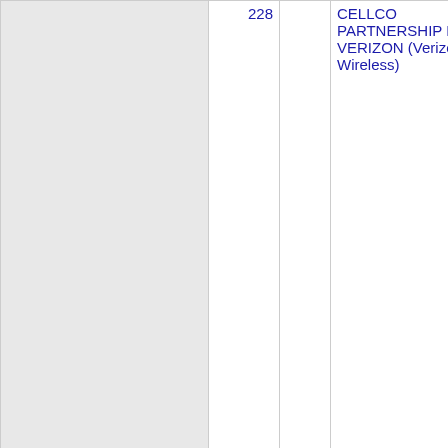| Number | State | Company | Code | City |
| --- | --- | --- | --- | --- |
| 228 |  | CELLCO PARTNERSHIP DBA VERIZON (Verizon Wireless) |  |  |
| Thousands block for 318-228 |  |  |  |  |
| 318-228-0 | LA | CELLCO PARTNERSHIP DBA VERIZON (Verizon Wireless) | 6505 | NATCH... |